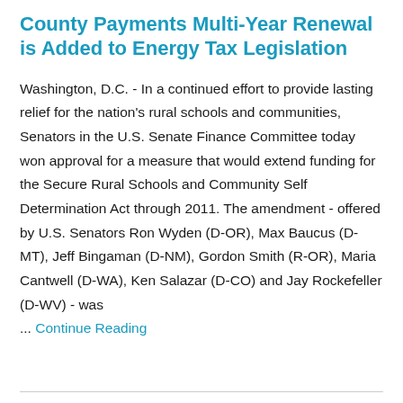County Payments Multi-Year Renewal is Added to Energy Tax Legislation
Washington, D.C. - In a continued effort to provide lasting relief for the nation's rural schools and communities, Senators in the U.S. Senate Finance Committee today won approval for a measure that would extend funding for the Secure Rural Schools and Community Self Determination Act through 2011. The amendment - offered by U.S. Senators Ron Wyden (D-OR), Max Baucus (D-MT), Jeff Bingaman (D-NM), Gordon Smith (R-OR), Maria Cantwell (D-WA), Ken Salazar (D-CO) and Jay Rockefeller (D-WV) - was
... Continue Reading